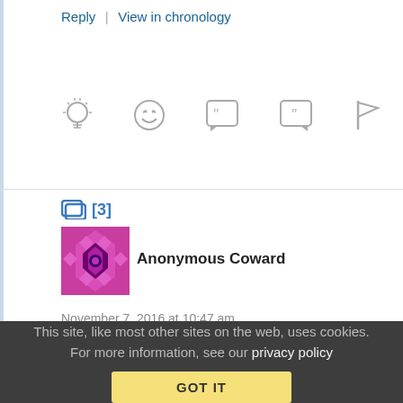Reply | View in chronology
[Figure (screenshot): Row of reaction icons: lightbulb, laughing emoji, left quote bubble, right quote bubble, flag]
[3]
[Figure (illustration): Anonymous Coward avatar - colorful diamond pattern in magenta/pink]
Anonymous Coward
November 7, 2016 at 10:47 am
Re: Re: Re:
Plus he strongly broke tradition by publicly attacking Hillary
This site, like most other sites on the web, uses cookies. For more information, see our privacy policy
GOT IT